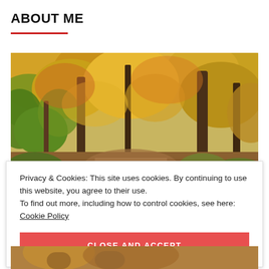ABOUT ME
[Figure (photo): Autumn forest path with colorful orange, yellow, and green foliage on trees, with a dirt trail visible in the center.]
Privacy & Cookies: This site uses cookies. By continuing to use this website, you agree to their use.
To find out more, including how to control cookies, see here: Cookie Policy
CLOSE AND ACCEPT
[Figure (photo): Partial bottom image, appears to show people outdoors in autumn.]